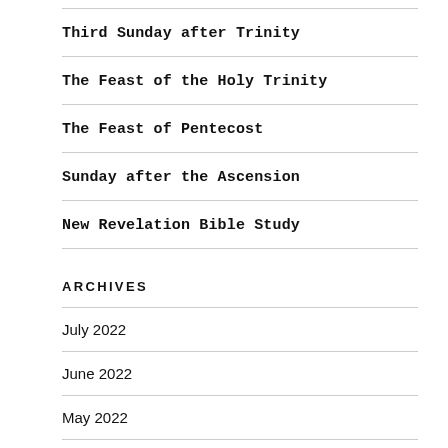Third Sunday after Trinity
The Feast of the Holy Trinity
The Feast of Pentecost
Sunday after the Ascension
New Revelation Bible Study
ARCHIVES
July 2022
June 2022
May 2022
April 2022